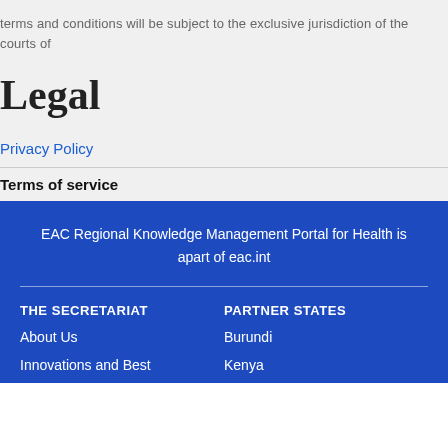terms and conditions will be subject to the exclusive jurisdiction of the courts of
Legal
Privacy Policy
Terms of service
EAC Regional Knowledge Management Portal for Health is apart of eac.int
THE SECRETARIAT
About Us
Innovations and Best
PARTNER STATES
Burundi
Kenya